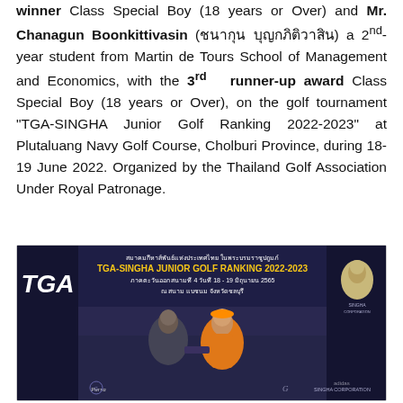winner Class Special Boy (18 years or Over) and Mr. Chanagun Boonkittivasin (Thai name) a 2nd-year student from Martin de Tours School of Management and Economics, with the 3rd runner-up award Class Special Boy (18 years or Over), on the golf tournament "TGA-SINGHA Junior Golf Ranking 2022-2023" at Plutaluang Navy Golf Course, Cholburi Province, during 18-19 June 2022. Organized by the Thailand Golf Association Under Royal Patronage.
[Figure (photo): Two people standing in front of a TGA-SINGHA Junior Golf Ranking 2022-2023 banner at Plutaluang Navy Golf Course, Cholburi Province. The banner is dark blue with gold and white text in Thai and English. TGA logo on the left, Singha Corporation logo on the right.]